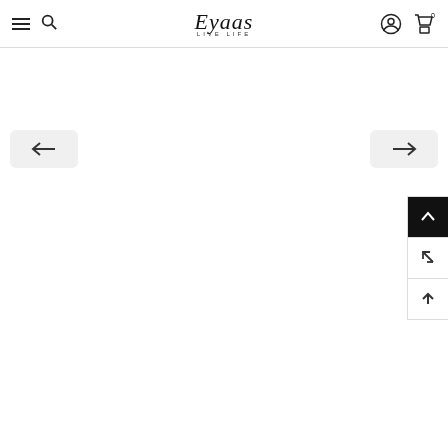[Figure (screenshot): Website navigation bar with hamburger menu, search icon, Eyaas Live Life logo in center, user account icon, and shopping bag icon on right]
[Figure (screenshot): Left navigation arrow button (previous)]
[Figure (screenshot): Right navigation arrow button (next)]
[Figure (screenshot): Floating right-side buttons: scroll to top (black background with up chevron), back/navigate icon, and up arrow icon]